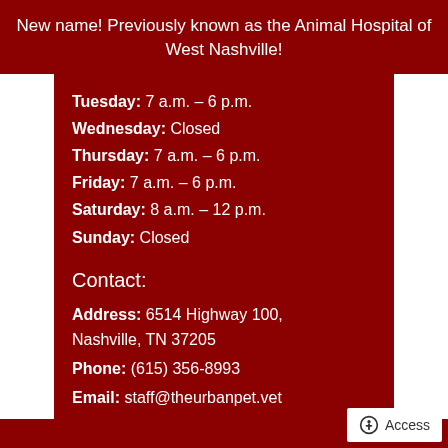New name! Previously known as the Animal Hospital of West Nashville!
Tuesday: 7 a.m. – 6 p.m.
Wednesday: Closed
Thursday: 7 a.m. – 6 p.m.
Friday: 7 a.m. – 6 p.m.
Saturday: 8 a.m. – 12 p.m.
Sunday: Closed
Contact:
Address: 6514 Highway 100, Nashville, TN 37205
Phone: (615) 356-8993
Email: staff@theurbanpet.vet